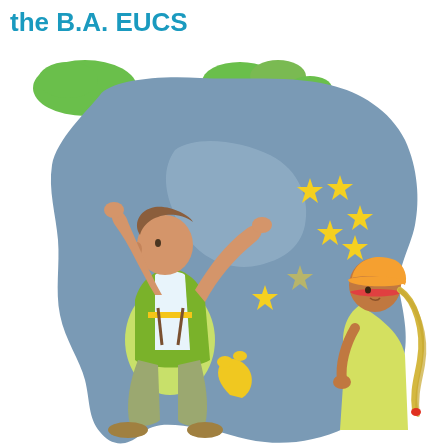the B.A. EUCS
[Figure (illustration): Cartoon illustration of two children placing yellow stars on a large grey map of Europe. A boy in a green vest kneels and reaches up to attach stars, while a girl with blonde braids and an orange hat watches from the right side. Green landmasses (representing neighbouring countries) are visible at the top of the map. The scene is colourful and educational in style.]